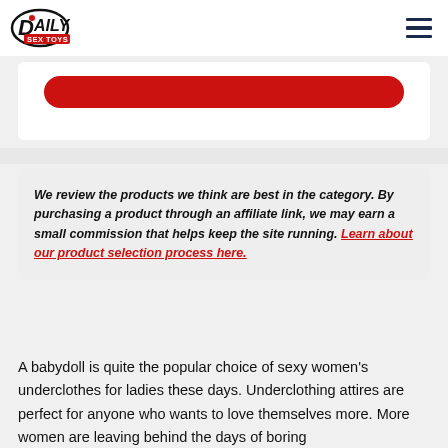Daily Sex Toys
[Figure (other): Red pill/button shape at top of white card]
We review the products we think are best in the category. By purchasing a product through an affiliate link, we may earn a small commission that helps keep the site running. Learn about our product selection process here.
A babydoll is quite the popular choice of sexy women's underclothes for ladies these days. Underclothing attires are perfect for anyone who wants to love themselves more. More women are leaving behind the days of boring